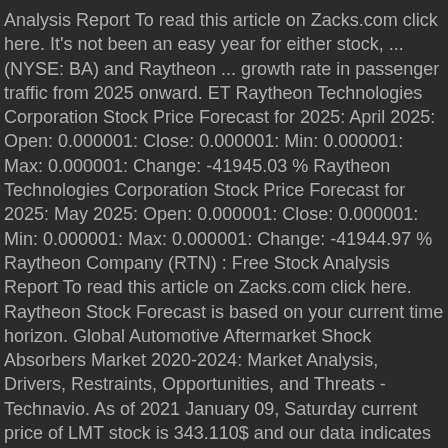Analysis Report To read this article on Zacks.com click here. It's not been an easy year for either stock, ... (NYSE: BA) and Raytheon ... growth rate in passenger traffic from 2025 onward. ET Raytheon Technologies Corporation Stock Price Forecast for 2025: April 2025: Open: 0.000001: Close: 0.000001: Min: 0.000001: Max: 0.000001: Change: -41945.03 % Raytheon Technologies Corporation Stock Price Forecast for 2025: May 2025: Open: 0.000001: Close: 0.000001: Min: 0.000001: Max: 0.000001: Change: -41944.97 % Raytheon Company (RTN) : Free Stock Analysis Report To read this article on Zacks.com click here. Raytheon Stock Forecast is based on your current time horizon. Global Automotive Aftermarket Shock Absorbers Market 2020-2024: Market Analysis, Drivers, Restraints, Opportunities, and Threats - Technavio. As of 2021 January 09, Saturday current price of LMT stock is 343.110$ and our data indicates that the asset price has been stagnating for the past 1 year (or since its inception).. Lockheed Martin Corp. has been showing a declining tendency so we believe that similar